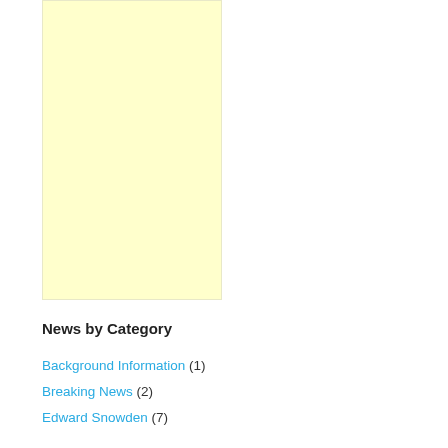[Figure (other): Light yellow rectangular advertisement block placeholder]
News by Category
Background Information (1)
Breaking News (2)
Edward Snowden (7)